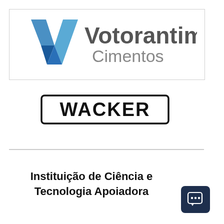[Figure (logo): Votorantim Cimentos logo: blue V-shaped mark on left, bold dark gray 'Votorantim' text and lighter gray 'Cimentos' text on right, inside a thin rectangular border]
[Figure (logo): WACKER logo: bold black uppercase text 'WACKER' inside a thick black rounded rectangle border]
Instituição de Ciência e Tecnologia Apoiadora